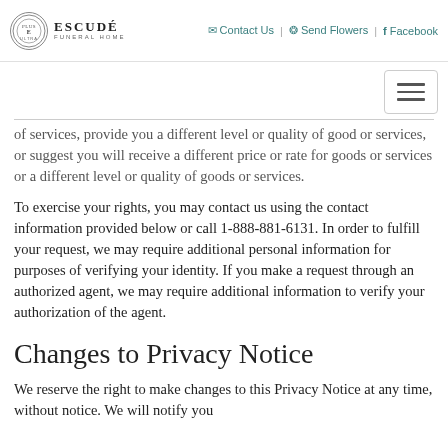Escudé Funeral Home | Contact Us | Send Flowers | Facebook
of services, provide you a different level or quality of good or services, or suggest you will receive a different price or rate for goods or services or a different level or quality of goods or services.
To exercise your rights, you may contact us using the contact information provided below or call 1-888-881-6131. In order to fulfill your request, we may require additional personal information for purposes of verifying your identity. If you make a request through an authorized agent, we may require additional information to verify your authorization of the agent.
Changes to Privacy Notice
We reserve the right to make changes to this Privacy Notice at any time, without notice. We will notify you